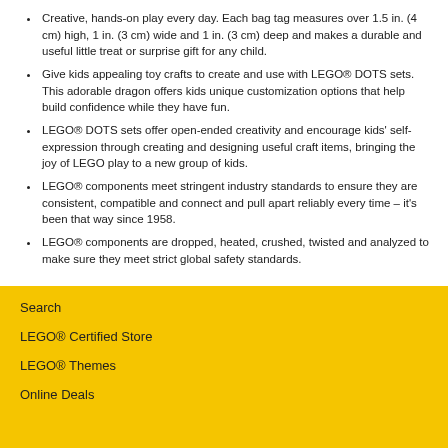Creative, hands-on play every day. Each bag tag measures over 1.5 in. (4 cm) high, 1 in. (3 cm) wide and 1 in. (3 cm) deep and makes a durable and useful little treat or surprise gift for any child.
Give kids appealing toy crafts to create and use with LEGO® DOTS sets. This adorable dragon offers kids unique customization options that help build confidence while they have fun.
LEGO® DOTS sets offer open-ended creativity and encourage kids' self-expression through creating and designing useful craft items, bringing the joy of LEGO play to a new group of kids.
LEGO® components meet stringent industry standards to ensure they are consistent, compatible and connect and pull apart reliably every time – it's been that way since 1958.
LEGO® components are dropped, heated, crushed, twisted and analyzed to make sure they meet strict global safety standards.
Search
LEGO® Certified Store
LEGO® Themes
Online Deals